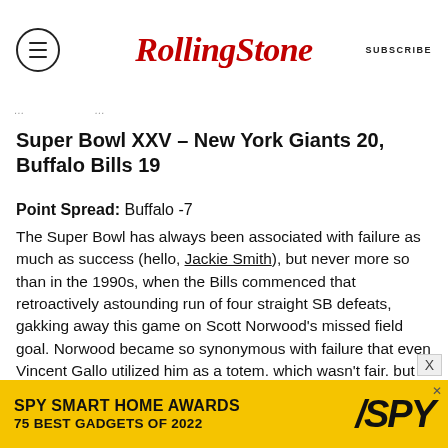Rolling Stone — SUBSCRIBE
Super Bowl XXV – New York Giants 20, Buffalo Bills 19
Point Spread: Buffalo -7
The Super Bowl has always been associated with failure as much as success (hello, Jackie Smith), but never more so than in the 1990s, when the Bills commenced that retroactively astounding run of four straight SB defeats, gakking away this game on Scott Norwood's missed field goal. Norwood became so synonymous with failure that even Vincent Gallo utilized him as a totem, which wasn't fair, but hell, by this point the Super Bowl was such an iconic happening that it became a
[Figure (other): Advertisement banner: SPY Smart Home Awards 75 Best Gadgets of 2022 with yellow background and SPY logo]